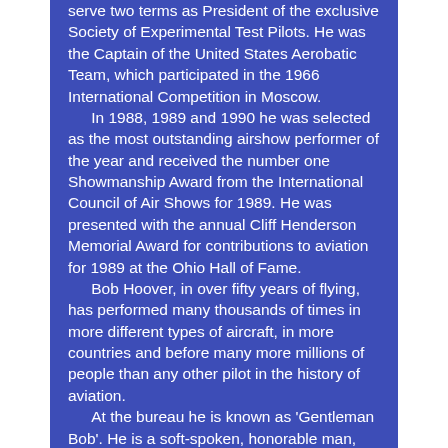serve two terms as President of the exclusive Society of Experimental Test Pilots. He was the Captain of the United States Aerobatic Team, which participated in the 1966 International Competition in Moscow.
    In 1988, 1989 and 1990 he was selected as the most outstanding airshow performer of the year and received the number one Showmanship Award from the International Council of Air Shows for 1989. He was presented with the annual Cliff Henderson Memorial Award for contributions to aviation for 1989 at the Ohio Hall of Fame.
    Bob Hoover, in over fifty years of flying, has performed many thousands of times in more different types of aircraft, in more countries and before many more millions of people than any other pilot in the history of aviation.
    At the bureau he is known as 'Gentleman Bob'. He is a soft-spoken, honorable man, tall and lean, and he continues to amaze his peers and fans alike for the remarkable enthusiasm he